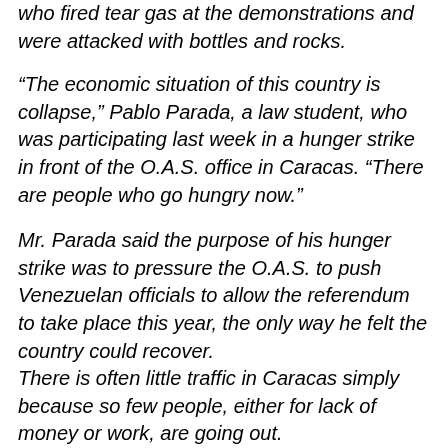who fired tear gas at the demonstrations and were attacked with bottles and rocks.
“The economic situation of this country is collapse,” Pablo Parada, a law student, who was participating last week in a hunger strike in front of the O.A.S. office in Caracas. “There are people who go hungry now.”
Mr. Parada said the purpose of his hunger strike was to pressure the O.A.S. to push Venezuelan officials to allow the referendum to take place this year, the only way he felt the country could recover.
There is often little traffic in Caracas simply because so few people, either for lack of money or work, are going out.
On a recent day in the downtown government center, pedestrians milled about, but nearly every building —